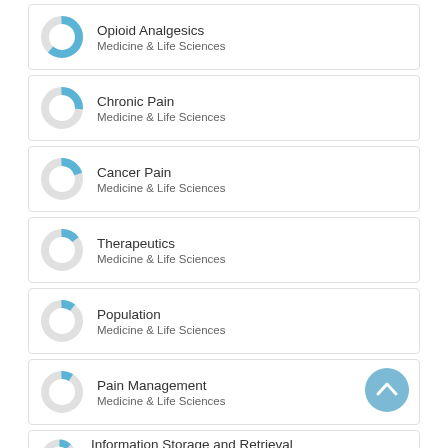Opioid Analgesics
Medicine & Life Sciences
Chronic Pain
Medicine & Life Sciences
Cancer Pain
Medicine & Life Sciences
Therapeutics
Medicine & Life Sciences
Population
Medicine & Life Sciences
Pain Management
Medicine & Life Sciences
Information Storage and Retrieval
Medicine & Life Sciences